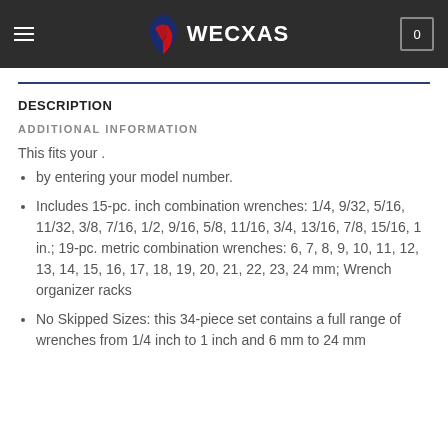WECXAS
DESCRIPTION
ADDITIONAL INFORMATION
This fits your .
by entering your model number.
Includes 15-pc. inch combination wrenches: 1/4, 9/32, 5/16, 11/32, 3/8, 7/16, 1/2, 9/16, 5/8, 11/16, 3/4, 13/16, 7/8, 15/16, 1 in.; 19-pc. metric combination wrenches: 6, 7, 8, 9, 10, 11, 12, 13, 14, 15, 16, 17, 18, 19, 20, 21, 22, 23, 24 mm; Wrench organizer racks
No Skipped Sizes: this 34-piece set contains a full range of wrenches from 1/4 inch to 1 inch and 6 mm to 24 mm